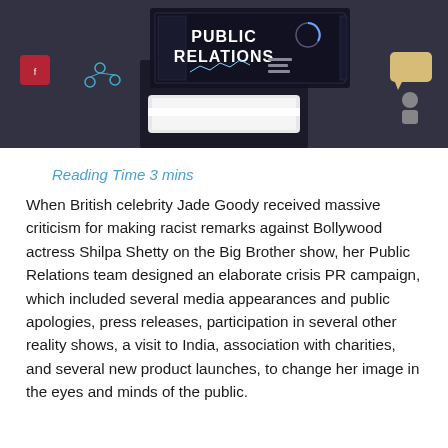[Figure (photo): Person holding a tablet with a 'PUBLIC RELATIONS' digital interface displayed on it, with social media and communication icons in the background. Dark/blurred background.]
Reading Time 3 mins
When British celebrity Jade Goody received massive criticism for making racist remarks against Bollywood actress Shilpa Shetty on the Big Brother show, her Public Relations team designed an elaborate crisis PR campaign, which included several media appearances and public apologies, press releases, participation in several other reality shows, a visit to India, association with charities, and several new product launches, to change her image in the eyes and minds of the public.